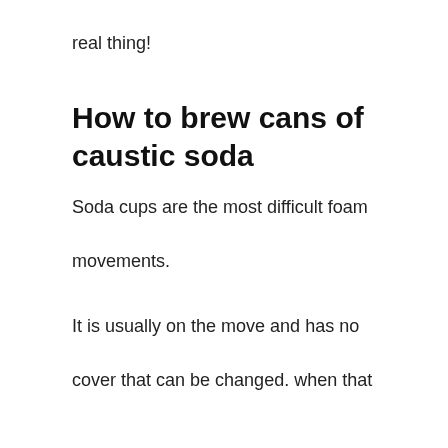real thing!
How to brew cans of caustic soda
Soda cups are the most difficult foam movements.
It is usually on the move and has no cover that can be changed. when that